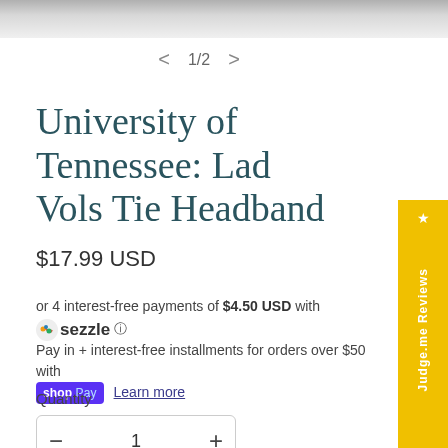[Figure (screenshot): Top navigation bar with dark gradient]
< 1/2 >
University of Tennessee: Lady Vols Tie Headband
$17.99 USD
or 4 interest-free payments of $4.50 USD with Sezzle ⓘ
Pay in + interest-free installments for orders over $50 with Shop Pay Learn more
Quantity
− 1 +